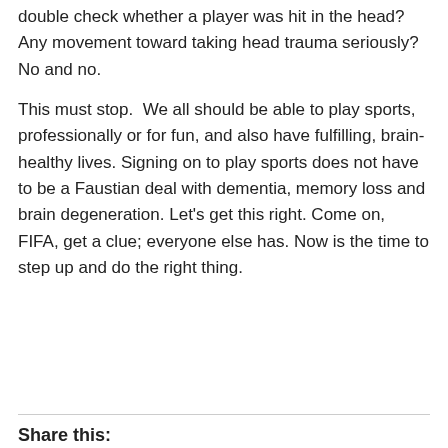double check whether a player was hit in the head? Any movement toward taking head trauma seriously? No and no.
This must stop.  We all should be able to play sports, professionally or for fun, and also have fulfilling, brain-healthy lives. Signing on to play sports does not have to be a Faustian deal with dementia, memory loss and brain degeneration. Let's get this right. Come on, FIFA, get a clue; everyone else has. Now is the time to step up and do the right thing.
Share this: